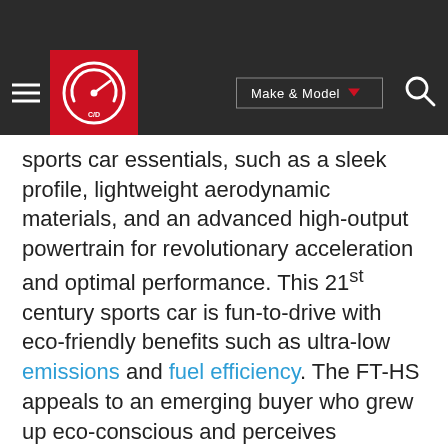[Figure (screenshot): Website navigation bar with hamburger menu, Car and Driver red logo, Make & Model dropdown button, and search icon on dark background]
sports car essentials, such as a sleek profile, lightweight aerodynamic materials, and an advanced high-output powertrain for revolutionary acceleration and optimal performance. This 21st century sports car is fun-to-drive with eco-friendly benefits such as ultra-low emissions and fuel efficiency. The FT-HS appeals to an emerging buyer who grew up eco-conscious and perceives technology as a necessity, not a luxury.